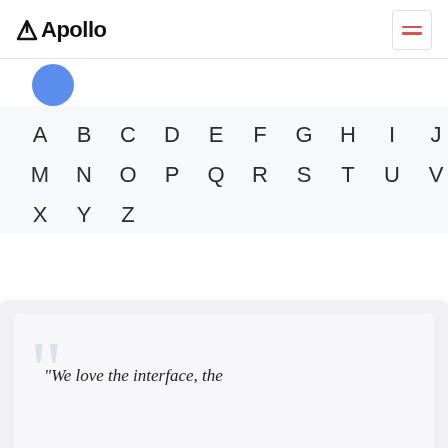Apollo
[Figure (other): Blue circular avatar/profile icon]
A B C D E F G H I J K L
M N O P Q R S T U V W
X Y Z
"We love the interface, the